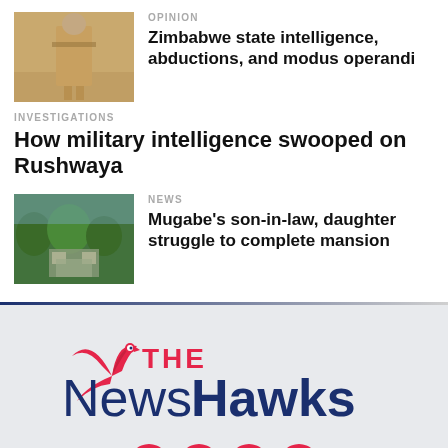[Figure (photo): Soldier in tan/khaki uniform standing indoors]
OPINION
Zimbabwe state intelligence, abductions, and modus operandi
INVESTIGATIONS
How military intelligence swooped on Rushwaya
[Figure (photo): Aerial or elevated view of a large mansion under construction surrounded by trees]
NEWS
Mugabe's son-in-law, daughter struggle to complete mansion
[Figure (logo): The NewsHawks logo with bird icon in red and navy blue]
[Figure (infographic): Social media icons: Facebook, Twitter, YouTube, LinkedIn in red circles]